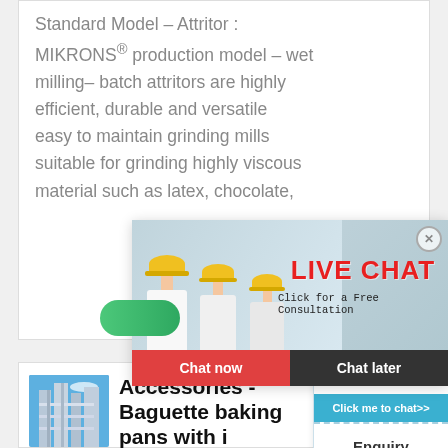Standard Model – Attritor : MIKRONS® production model – wet milling– batch attritors are highly efficient, durable and versatile easy to maintain grinding mills suitable for grinding highly viscous material such as latex, chocolate,
[Figure (screenshot): Live chat popup overlay showing workers in yellow hard hats, LIVE CHAT heading in red, 'Click for a Free Consultation' text, Chat now and Chat later buttons]
[Figure (screenshot): Right-side widget panel showing 'hour online' text, industrial machine photo, 'Click me to chat>>' blue button, and 'Enquiry' section]
[Figure (photo): Industrial building/factory structure photo with blue sky background]
Accessories - Baguette baking pans with i...